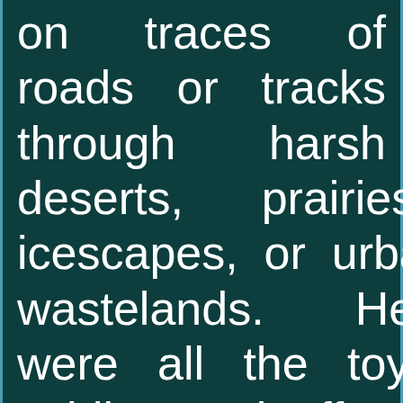on traces of roads or tracks through harsh deserts, prairies, icescapes, or urban wastelands. Here were all the toy soldiers, ineffective windshield wipers, first tastes of chocolate, wine,